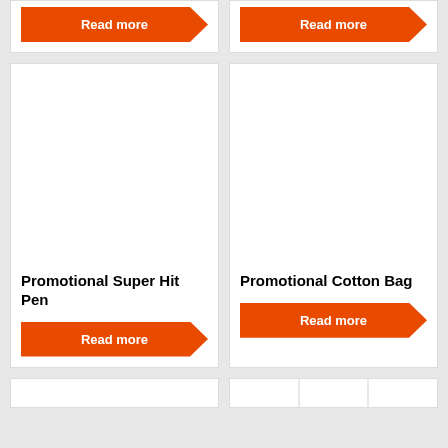[Figure (screenshot): Top-left product card showing only a Read more button (orange with arrow clip) at the top of the page]
[Figure (screenshot): Top-right product card showing only a Read more button (orange with arrow clip) at the top of the page]
[Figure (photo): White blank product image area for Promotional Super Hit Pen]
Promotional Super Hit Pen
[Figure (photo): White blank product image area for Promotional Cotton Bag]
Promotional Cotton Bag
Read more
Read more
[Figure (screenshot): Bottom partial row of product cards just visible at the very bottom of the page]